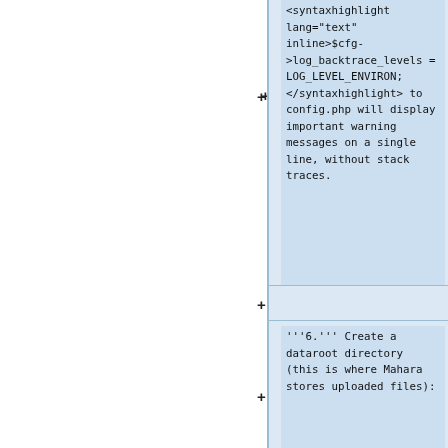<syntaxhighlight lang="text" inline>$cfg->log_backtrace_levels = LOG_LEVEL_ENVIRON;</syntaxhighlight> to config.php will display important warning messages on a single line, without stack traces.
'''6.''' Create a dataroot directory (this is where Mahara stores uploaded files):
<syntaxhighlight lang="bash">